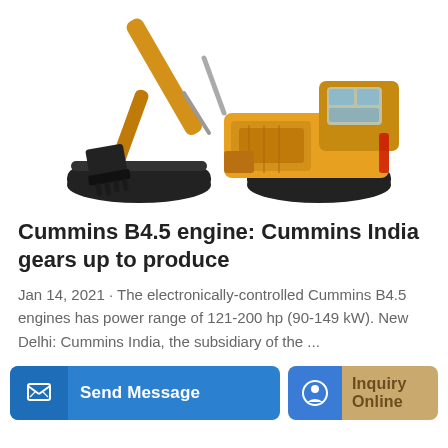[Figure (photo): Yellow excavator/crawler excavator with black tracks and bucket arm extended, shown on white background]
Cummins B4.5 engine: Cummins India gears up to produce
Jan 14, 2021 · The electronically-controlled Cummins B4.5 engines has power range of 121-200 hp (90-149 kW). New Delhi: Cummins India, the subsidiary of the ...
Learn More
Send Message
Inquiry Online